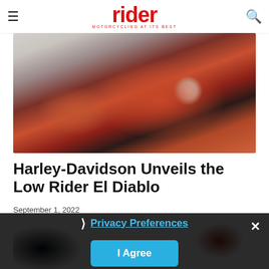rider — MOTORCYCLING AT ITS BEST
[Figure (photo): Red and dark Harley-Davidson Low Rider El Diablo motorcycle, front three-quarter view, ridden by a person in helmet and jacket, on a street with buildings in background]
Harley-Davidson Unveils the Low Rider El Diablo
September 1, 2022
[Figure (photo): Partially visible street scene with Yamaha signage, dark-toned image partially obscured by privacy consent overlay]
❯ Privacy Preferences
I Agree